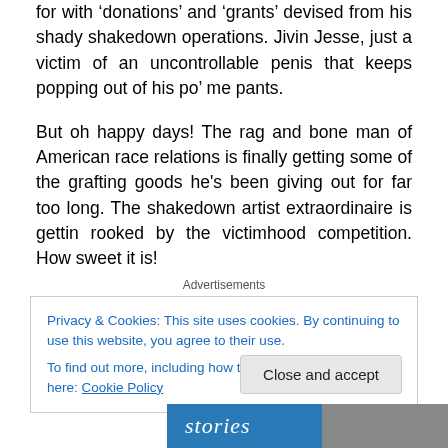for with ‘donations’ and ‘grants’ devised from his shady shakedown operations.  Jivin Jesse, just a victim of an uncontrollable penis that keeps popping out of his po’ me pants.
But oh happy days! The rag and bone man of American race relations is finally getting some of the grafting goods he’s been giving out for far too long.  The shakedown artist extraordinaire is gettin rooked by the victimhood competition.  How sweet it is!
Advertisements
Privacy & Cookies: This site uses cookies. By continuing to use this website, you agree to their use.
To find out more, including how to control cookies, see here: Cookie Policy
Close and accept
[Figure (photo): Bottom partial image showing the word 'stories' in italic white text on a blue background, with a partial photo on the right side]